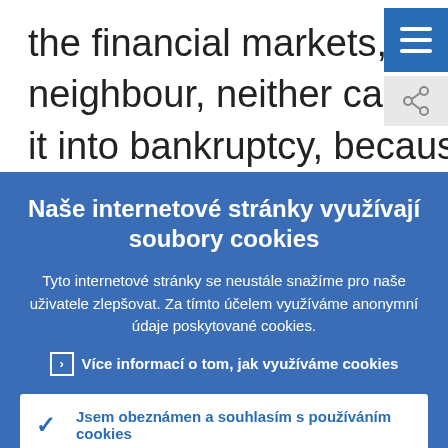the financial markets, to discipline our neighbour, neither can we threaten to push it into bankruptcy, because the contagion
Naše internetové stránky využívají soubory cookies
Tyto internetové stránky se neustále snažíme pro naše uživatele zlepšovat. Za tímto účelem využíváme anonymní údaje poskytované cookies.
› Více informací o tom, jak využíváme cookies
✓ Jsem obeznámen a souhlasím s používáním cookies
✗ Nesouhlasím s používáním cookies.